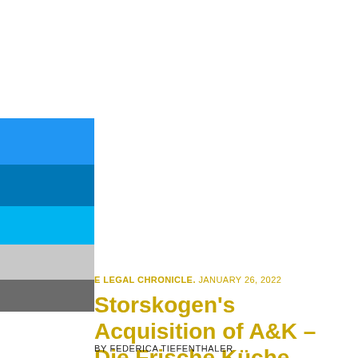[Figure (illustration): Decorative colored block stripes in blue, dark blue, light blue, light gray, and dark gray stacked vertically on the left side of the page]
E LEGAL CHRONICLE. JANUARY 26, 2022
Storskogen's Acquisition of A&K – Die Frische Küche GmbH
BY FEDERICA TIEFENTHALER